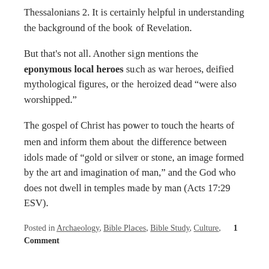Thessalonians 2. It is certainly helpful in understanding the background of the book of Revelation.
But that's not all. Another sign mentions the eponymous local heroes such as war heroes, deified mythological figures, or the heroized dead “were also worshipped.”
The gospel of Christ has power to touch the hearts of men and inform them about the difference between idols made of “gold or silver or stone, an image formed by the art and imagination of man,” and the God who does not dwell in temples made by man (Acts 17:29 ESV).
Posted in Archaeology, Bible Places, Bible Study, Culture,    1 Comment